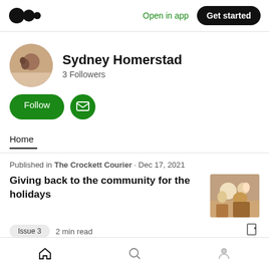Open in app  Get started
Sydney Homerstad
3 Followers
Follow
Home
Published in The Crockett Courier · Dec 17, 2021
Giving back to the community for the holidays
Issue 3  2 min read
Home  Search  Profile